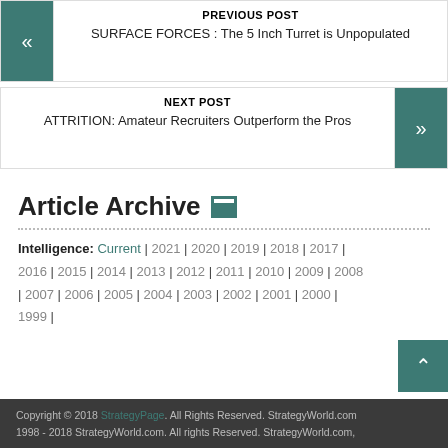PREVIOUS POST
SURFACE FORCES : The 5 Inch Turret is Unpopulated
NEXT POST
ATTRITION: Amateur Recruiters Outperform the Pros
Article Archive
Intelligence: Current | 2021 | 2020 | 2019 | 2018 | 2017 | 2016 | 2015 | 2014 | 2013 | 2012 | 2011 | 2010 | 2009 | 2008 | 2007 | 2006 | 2005 | 2004 | 2003 | 2002 | 2001 | 2000 | 1999 |
Copyright © 2018 StrategyPage. All Rights Reserved. StrategyWorld.com 1998 - 2018 StrategyWorld.com. All rights Reserved. StrategyWorld.com,